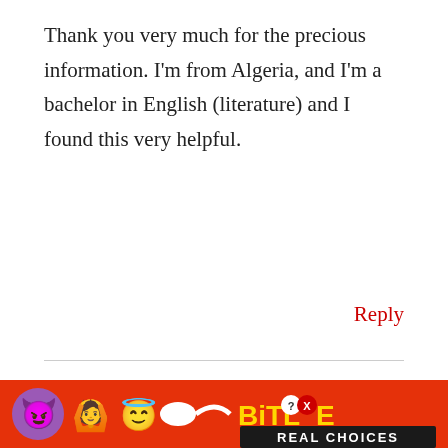Thank you very much for the precious information. I'm from Algeria, and I'm a bachelor in English (literature) and I found this very helpful.
Reply
REV J
JUNE 16, 2016 AT 8:18 PM
Thank you for sharing your insights. I know this is a compilation of years of work and research. I needed to get some insight into the colors in a dream...again, th...
[Figure (screenshot): BitLife advertisement banner with emojis (devil, girl with raised hands, angel emoji, sperm emoji) on red background with BitLife logo and 'REAL CHOICES' text]